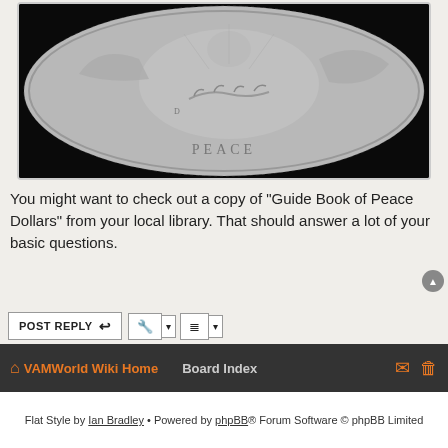[Figure (photo): Close-up photograph of a Peace Dollar coin (reverse side) showing an eagle with wings spread, holding an olive branch, against a black background. The coin appears to be silver with detailed relief designs.]
You might want to check out a copy of "Guide Book of Peace Dollars" from your local library. That should answer a lot of your basic questions.
POST REPLY | tool buttons | 7 posts • Page 1 of 1 | JUMP TO
VAMWorld Wiki Home  Board Index
Flat Style by Ian Bradley • Powered by phpBB® Forum Software © phpBB Limited